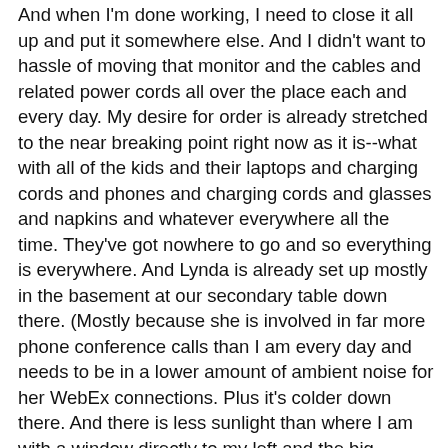And when I'm done working, I need to close it all up and put it somewhere else. And I didn't want to hassle of moving that monitor and the cables and related power cords all over the place each and every day. My desire for order is already stretched to the near breaking point right now as it is--what with all of the kids and their laptops and charging cords and phones and charging cords and glasses and napkins and whatever everywhere all the time. They've got nowhere to go and so everything is everywhere. And Lynda is already set up mostly in the basement at our secondary table down there. (Mostly because she is involved in far more phone conference calls than I am every day and needs to be in a lower amount of ambient noise for her WebEx connections. Plus it's colder down there. And there is less sunlight than where I am with a window directly to my left and the big picture window in the room to my right.)
But speaking of sunlight . . . I'd dearly love more of it. As I'm sure it has been with you, it's been two days worth of rain lately. And I'm even more stressed. Plus the kids have no chance of getting out to go for a walk or anything. Bad times.
And then . . . the week started well with my not eating too...